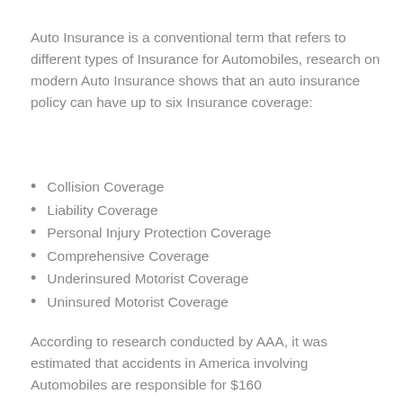Auto Insurance is a conventional term that refers to different types of Insurance for Automobiles, research on modern Auto Insurance shows that an auto insurance policy can have up to six Insurance coverage:
Collision Coverage
Liability Coverage
Personal Injury Protection Coverage
Comprehensive Coverage
Underinsured Motorist Coverage
Uninsured Motorist Coverage
According to research conducted by AAA, it was estimated that accidents in America involving Automobiles are responsible for $160